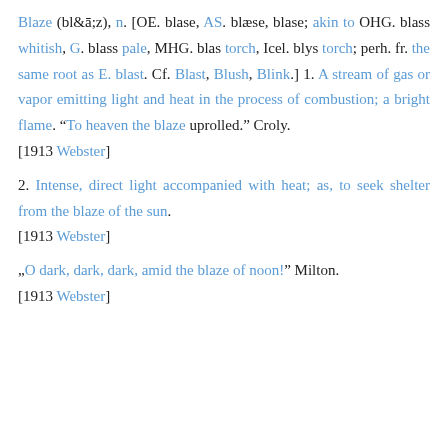Blaze (bl&ā;z), n. [OE. blase, AS. blæse, blase; akin to OHG. blass whitish, G. blass pale, MHG. blas torch, Icel. blys torch; perh. fr. the same root as E. blast. Cf. Blast, Blush, Blink.] 1. A stream of gas or vapor emitting light and heat in the process of combustion; a bright flame. "To heaven the blaze uprolled." Croly. [1913 Webster]
2. Intense, direct light accompanied with heat; as, to seek shelter from the blaze of the sun. [1913 Webster]
„O dark, dark, dark, amid the blaze of noon!" Milton. [1913 Webster]